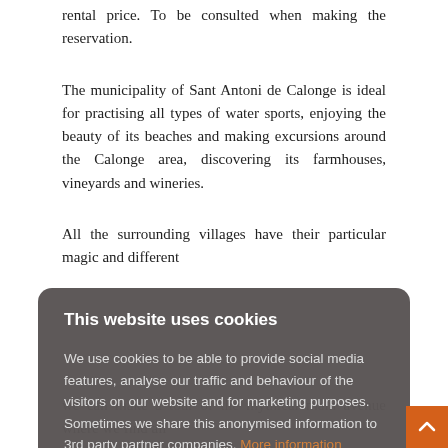rental price. To be consulted when making the reservation.
The municipality of Sant Antoni de Calonge is ideal for practising all types of water sports, enjoying the beauty of its beaches and making excursions around the Calonge area, discovering its farmhouses, vineyards and wineries.
All the surrounding villages have their particular magic and different
[Figure (screenshot): Cookie consent modal overlay with dark grey rounded rectangle background. Title: 'This website uses cookies'. Body text about cookie usage and a 'More information' link in orange. Two buttons: 'I accept all Cookies' (orange button) and 'Change settings' (orange text link).]
we can make a tour of the mythical main avenue where we find all